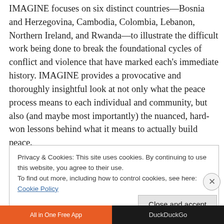IMAGINE focuses on six distinct countries—Bosnia and Herzegovina, Cambodia, Colombia, Lebanon, Northern Ireland, and Rwanda—to illustrate the difficult work being done to break the foundational cycles of conflict and violence that have marked each's immediate history. IMAGINE provides a provocative and thoroughly insightful look at not only what the peace process means to each individual and community, but also (and maybe most importantly) the nuanced, hard-won lessons behind what it means to actually build peace.
Privacy & Cookies: This site uses cookies. By continuing to use this website, you agree to their use.
To find out more, including how to control cookies, see here: Cookie Policy